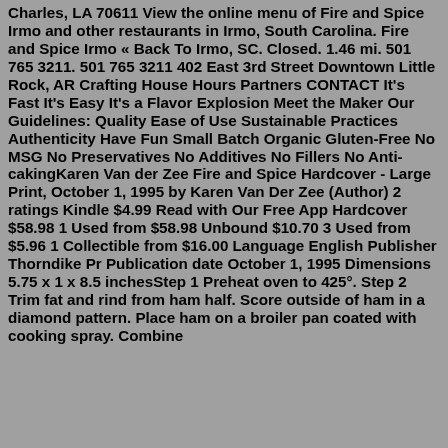Charles, LA 70611 View the online menu of Fire and Spice Irmo and other restaurants in Irmo, South Carolina. Fire and Spice Irmo « Back To Irmo, SC. Closed. 1.46 mi. 501 765 3211. 501 765 3211 402 East 3rd Street Downtown Little Rock, AR Crafting House Hours Partners CONTACT It's Fast It's Easy It's a Flavor Explosion Meet the Maker Our Guidelines: Quality Ease of Use Sustainable Practices Authenticity Have Fun Small Batch Organic Gluten-Free No MSG No Preservatives No Additives No Fillers No Anti-cakingKaren Van der Zee Fire and Spice Hardcover - Large Print, October 1, 1995 by Karen Van Der Zee (Author) 2 ratings Kindle $4.99 Read with Our Free App Hardcover $58.98 1 Used from $58.98 Unbound $10.70 3 Used from $5.96 1 Collectible from $16.00 Language English Publisher Thorndike Pr Publication date October 1, 1995 Dimensions 5.75 x 1 x 8.5 inchesStep 1 Preheat oven to 425°. Step 2 Trim fat and rind from ham half. Score outside of ham in a diamond pattern. Place ham on a broiler pan coated with cooking spray. Combine